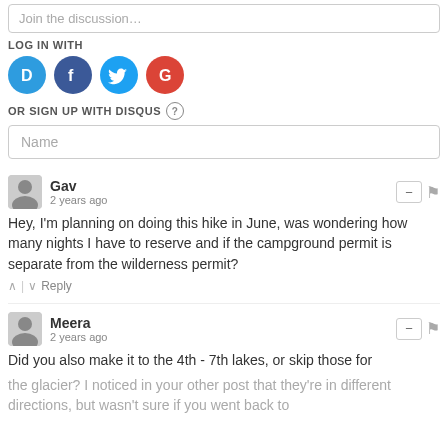Join the discussion…
LOG IN WITH
[Figure (infographic): Four social login icons: Disqus (blue D), Facebook (dark blue f), Twitter (light blue bird), Google (red G)]
OR SIGN UP WITH DISQUS ?
Name
Gav
2 years ago
Hey, I'm planning on doing this hike in June, was wondering how many nights I have to reserve and if the campground permit is separate from the wilderness permit?
↑ | ↓  Reply
Meera
2 years ago
Did you also make it to the 4th - 7th lakes, or skip those for the glacier? I noticed in your other post that they're in different directions, but wasn't sure if you went back to